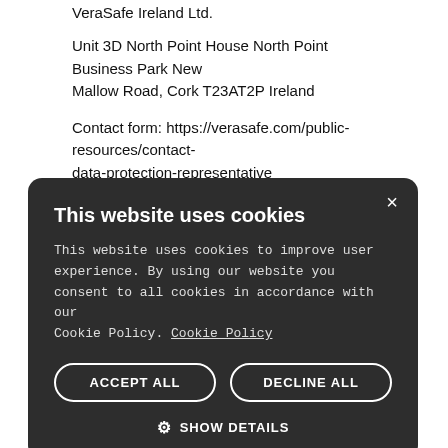VeraSafe Ireland Ltd.
Unit 3D North Point House North Point Business Park New Mallow Road, Cork T23AT2P Ireland
Contact form: https://verasafe.com/public-resources/contact-data-protection-representative
e. UK Data Protection Representative: –
...ssing of Customer ...ment and all ..., addenda, ...s associated
[Figure (screenshot): Cookie consent modal dialog with dark background. Title: 'This website uses cookies'. Body text explains cookie usage. Two buttons: 'ACCEPT ALL' and 'DECLINE ALL'. A 'SHOW DETAILS' option with gear icon. Close button (X) in top right.]
...Customer ...ment and all amendments, exhibits, schedules, task orders, addenda,